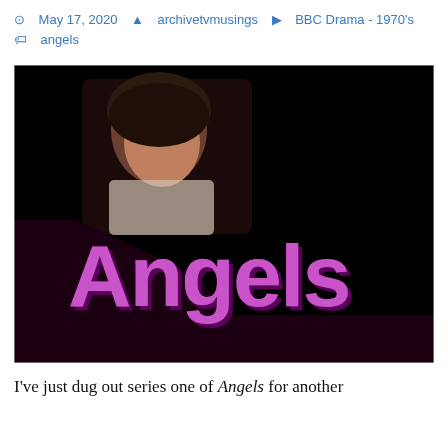May 17, 2020  archivetvmusings  BBC Drama - 1970's  angels
[Figure (photo): Title card screenshot from the BBC TV series 'Angels'. Black background with a photographic insert of a woman's face in the upper-left area, and large purple 3D-style lettering reading 'Angels' in the lower portion of the image.]
I've just dug out series one of Angels for another